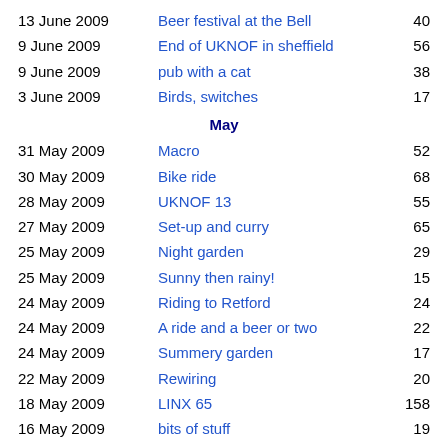13 June 2009 | Beer festival at the Bell | 40
9 June 2009 | End of UKNOF in sheffield | 56
9 June 2009 | pub with a cat | 38
3 June 2009 | Birds, switches | 17
May
31 May 2009 | Macro | 52
30 May 2009 | Bike ride | 68
28 May 2009 | UKNOF 13 | 55
27 May 2009 | Set-up and curry | 65
25 May 2009 | Night garden | 29
25 May 2009 | Sunny then rainy! | 15
24 May 2009 | Riding to Retford | 24
24 May 2009 | A ride and a beer or two | 22
24 May 2009 | Summery garden | 17
22 May 2009 | Rewiring | 20
18 May 2009 | LINX 65 | 158
16 May 2009 | bits of stuff | 19
10 May 2009 | Lake | 15
9 May 2009 | Barbeque at paulc's | 34
3 May 2009 | Reading and pints | 10
3 May 2009 | Park | 38